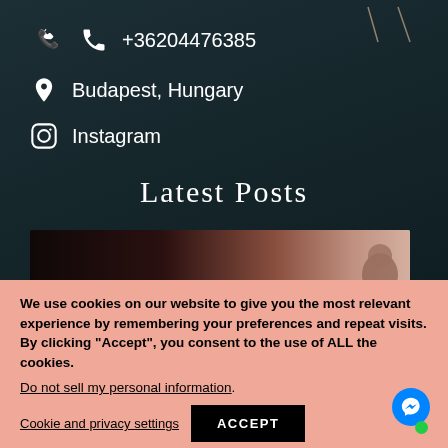+36204476385
Budapest, Hungary
Instagram
Latest Posts
[Figure (screenshot): TomKings Blog preview thumbnail showing 'TomKings Blog' logo text and partial subtitle 'Why Retro Pug']
We use cookies on our website to give you the most relevant experience by remembering your preferences and repeat visits. By clicking “Accept”, you consent to the use of ALL the cookies.
Do not sell my personal information.
Cookie and privacy settings
ACCEPT